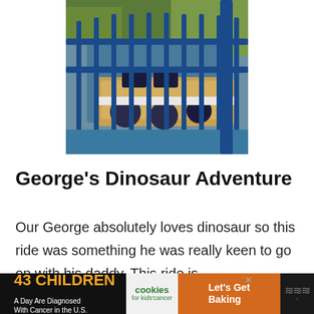[Figure (photo): Photo of a colorful dinosaur-themed amusement park ride (boat/vehicle) behind a blue metal fence railing, with trees and themed scenery in the background.]
George's Dinosaur Adventure
Our George absolutely loves dinosaur so this ride was something he was really keen to go on with his daddy. This ride is
[Figure (infographic): Advertisement banner: '43 CHILDREN A Day Are Diagnosed With Cancer in the U.S.' with Cookies for kids' cancer logo and 'Let's Get Baking' text on brown background.]